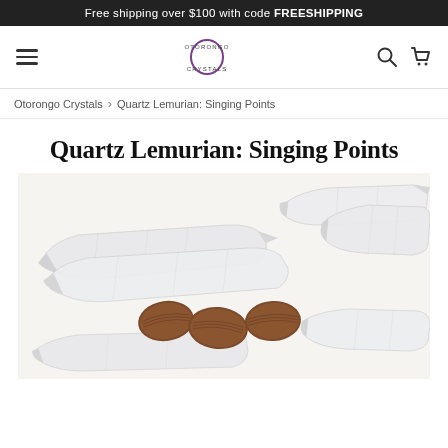Free shipping over $100 with code FREESHIPPING
[Figure (logo): Otorongo Crystals logo with circular O and text]
Otorongo Crystals > Quartz Lemurian: Singing Points
Quartz Lemurian: Singing Points
[Figure (photo): Photograph of several clear quartz Lemurian singing point crystals alongside brown almond-shaped seeds on a white background]